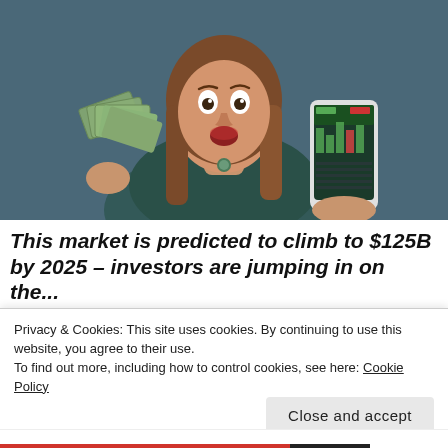[Figure (photo): Woman with surprised expression holding a fan of dollar bills in one hand and a smartphone showing a trading app in the other, against a dark teal background.]
This market is predicted to climb to $125B by 2025 – investors are jumping in on the...
Privacy & Cookies: This site uses cookies. By continuing to use this website, you agree to their use.
To find out more, including how to control cookies, see here: Cookie Policy
Close and accept